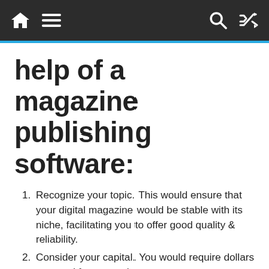[Navigation bar with home, menu, search, shuffle icons]
help of a magazine publishing software:
Recognize your topic. This would ensure that your digital magazine would be stable with its niche, facilitating you to offer good quality & reliability.
Consider your capital. You would require dollars to spend for your write-ups, server room, keeping up, and your website design & coding. You must have an adequate promotional strategy on how you could manage all the expenditures required for this business & how to market your digital magazine.
You would need to work with other people. A digital magazine would definitely be a hit in case you also obtain ideas from others who